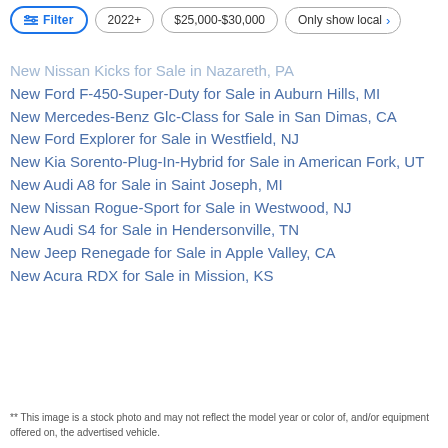Filter | 2022+ | $25,000-$30,000 | Only show local
New Nissan Kicks for Sale in Nazareth, PA
New Ford F-450-Super-Duty for Sale in Auburn Hills, MI
New Mercedes-Benz Glc-Class for Sale in San Dimas, CA
New Ford Explorer for Sale in Westfield, NJ
New Kia Sorento-Plug-In-Hybrid for Sale in American Fork, UT
New Audi A8 for Sale in Saint Joseph, MI
New Nissan Rogue-Sport for Sale in Westwood, NJ
New Audi S4 for Sale in Hendersonville, TN
New Jeep Renegade for Sale in Apple Valley, CA
New Acura RDX for Sale in Mission, KS
** This image is a stock photo and may not reflect the model year or color of, and/or equipment offered on, the advertised vehicle.